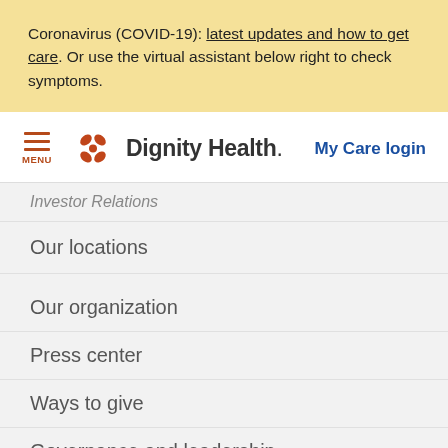Coronavirus (COVID-19): latest updates and how to get care. Or use the virtual assistant below right to check symptoms.
[Figure (logo): Dignity Health logo with orange flower icon and brand name]
Investor Relations
Our locations
Our organization
Press center
Ways to give
Governance and leadership
HIPAA Notice of Privacy Practices: California